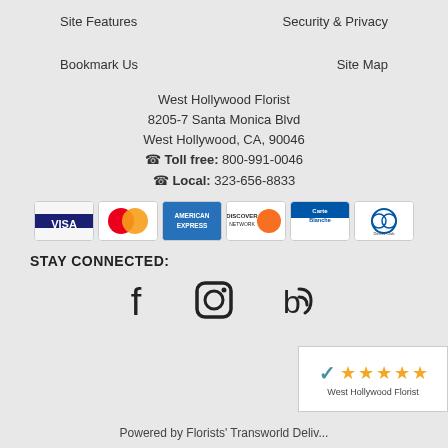Site Features
Security & Privacy
Bookmark Us
Site Map
West Hollywood Florist
8205-7 Santa Monica Blvd
West Hollywood, CA, 90046
Toll free: 800-991-0046
Local: 323-656-8833
[Figure (other): Payment method icons: Visa, MasterCard, American Express, Discover, Carte Blanche, Diners Club International]
STAY CONNECTED:
[Figure (other): Social media icons: Facebook, Instagram, Blog]
[Figure (other): West Hollywood Florist rating badge with 5 gold stars]
Powered by Florists' Transworld Deliv...